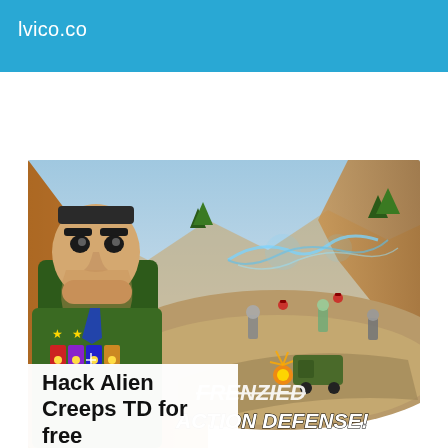lvico.co
[Figure (screenshot): Screenshot of Alien Creeps TD mobile game showing a cartoon military general character on the left with medals, and a top-down tower defense battlefield with lightning effects, robots, and desert terrain. Overlaid text reads 'FRENZIED' and 'ACTION DEFENSE!']
Hack Alien Creeps TD for free